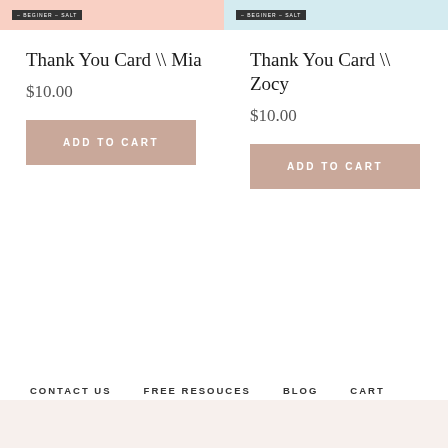[Figure (photo): Top cropped product image for Thank You Card Mia with a badge reading BEGINNER SALT, pink background]
[Figure (photo): Top cropped product image for Thank You Card Zocy with a badge reading BEGINNER SALT, light blue background]
Thank You Card \\ Mia
$10.00
ADD TO CART
Thank You Card \\ Zocy
$10.00
ADD TO CART
CONTACT US   FREE RESOUCES   BLOG   CART